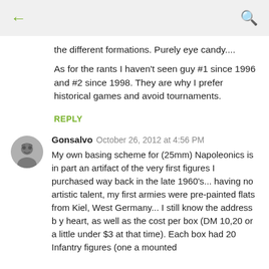← (back) | (search)
the different formations. Purely eye candy....
As for the rants I haven't seen guy #1 since 1996 and #2 since 1998. They are why I prefer historical games and avoid tournaments.
REPLY
Gonsalvo  October 26, 2012 at 4:56 PM
My own basing scheme for (25mm) Napoleonics is in part an artifact of the very first figures I purchased way back in the late 1960's... having no artistic talent, my first armies were pre-painted flats from Kiel, West Germany... I still know the address b y heart, as well as the cost per box (DM 10,20 or a little under $3 at that time). Each box had 20 Infantry figures (one a mounted